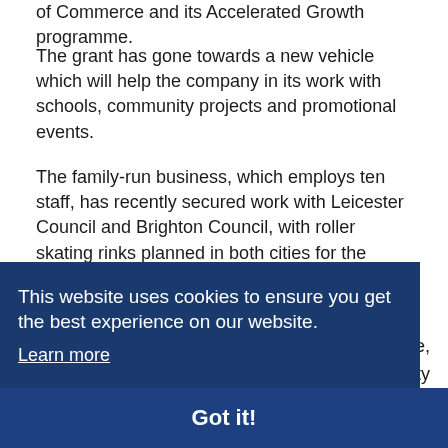of Commerce and its Accelerated Growth programme.
The grant has gone towards a new vehicle which will help the company in its work with schools, community projects and promotional events.
The family-run business, which employs ten staff, has recently secured work with Leicester Council and Brighton Council, with roller skating rinks planned in both cities for the summer months.
[partially obscured text] ...shire, ...ality ...ess ...ons
This website uses cookies to ensure you get the best experience on our website. Learn more
Got it!
pandemic future. Securing a new vehicle was